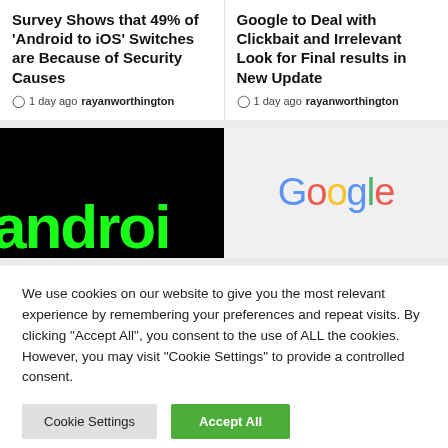Survey Shows that 49% of 'Android to iOS' Switches are Because of Security Causes
1 day ago  rayanworthington
Google to Deal with Clickbait and Irrelevant Look for Final results in New Update
1 day ago  rayanworthington
[Figure (logo): Android logo text in green on black background, partially cropped showing 'androi']
[Figure (logo): Google logo in multicolor on light grey background]
We use cookies on our website to give you the most relevant experience by remembering your preferences and repeat visits. By clicking "Accept All", you consent to the use of ALL the cookies. However, you may visit "Cookie Settings" to provide a controlled consent.